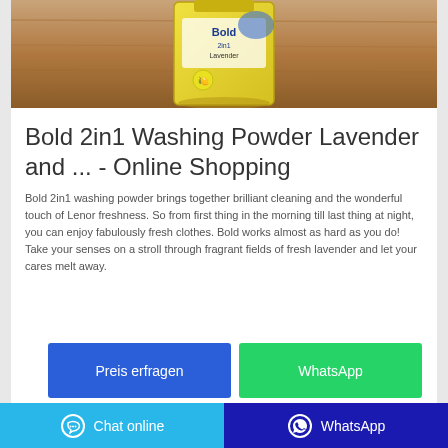[Figure (photo): Product photo of Bold 2in1 Washing Powder in a yellow package on a wooden surface]
Bold 2in1 Washing Powder Lavender and ... - Online Shopping
Bold 2in1 washing powder brings together brilliant cleaning and the wonderful touch of Lenor freshness. So from first thing in the morning till last thing at night, you can enjoy fabulously fresh clothes. Bold works almost as hard as you do! Take your senses on a stroll through fragrant fields of fresh lavender and let your cares melt away.
Preis erfragen
WhatsApp
Chat online | WhatsApp